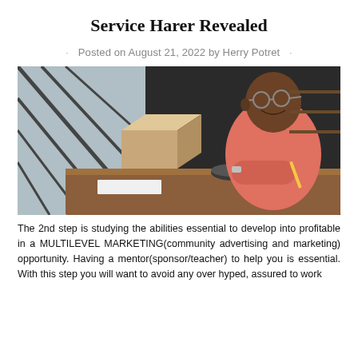Service Harer Revealed
Posted on August 21, 2022 by Herry Potret
[Figure (photo): An older Black man wearing glasses and a pink polo shirt sits at a wooden desk, looking thoughtfully to the side. He has his arms crossed and holds a pencil. Behind him are large windows with geometric frames and dark walls with shelving.]
The 2nd step is studying the abilities essential to develop into profitable in a MULTILEVEL MARKETING(community advertising and marketing) opportunity. Having a mentor(sponsor/teacher) to help you is essential. With this step you will want to avoid any over hyped, assured to work